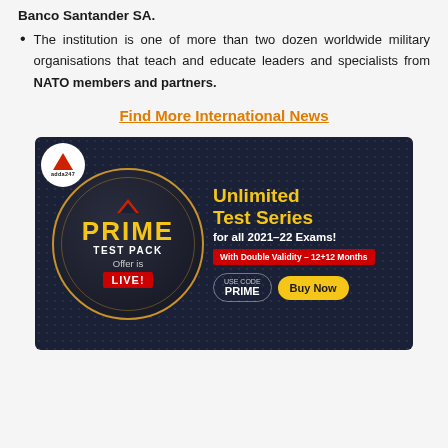Banco Santander SA.
The institution is one of more than two dozen worldwide military organisations that teach and educate leaders and specialists from NATO members and partners.
Find More International News
[Figure (infographic): Adda247 advertisement banner for PRIME TEST PACK offering Unlimited Test Series for all 2021-22 Exams with Double Validity 12+12 Months. Use code PRIME, Buy Now button.]